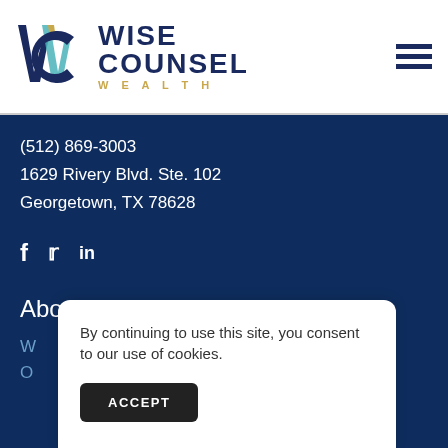[Figure (logo): Wise Counsel Wealth logo with stylized WC lettermark in dark navy, teal, and gold colors, alongside text WISE COUNSEL WEALTH]
(512) 869-3003
1629 Rivery Blvd. Ste. 102
Georgetown, TX 78628
[Figure (infographic): Social media icons: Facebook (f), Twitter (bird), LinkedIn (in)]
About
W...
O...
By continuing to use this site, you consent to our use of cookies.
ACCEPT